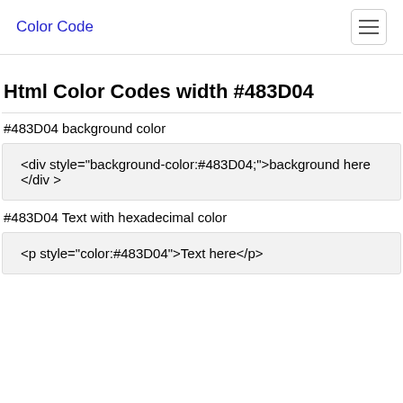Color Code
Html Color Codes width #483D04
#483D04 background color
<div style="background-color:#483D04;">background here </div >
#483D04 Text with hexadecimal color
<p style="color:#483D04">Text here</p>